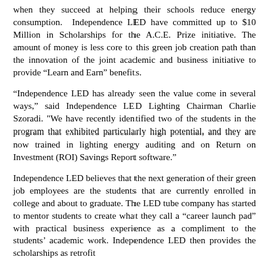when they succeed at helping their schools reduce energy consumption. Independence LED have committed up to $10 Million in Scholarships for the A.C.E. Prize initiative. The amount of money is less core to this green job creation path than the innovation of the joint academic and business initiative to provide “Learn and Earn” benefits.
“Independence LED has already seen the value come in several ways,” said Independence LED Lighting Chairman Charlie Szoradi. “We have recently identified two of the students in the program that exhibited particularly high potential, and they are now trained in lighting energy auditing and on Return on Investment (ROI) Savings Report software.”
Independence LED believes that the next generation of their green job employees are the students that are currently enrolled in college and about to graduate. The LED tube company has started to mentor students to create what they call a “career launch pad” with practical business experience as a compliment to the students’ academic work. Independence LED then provides the scholarships as retrofit